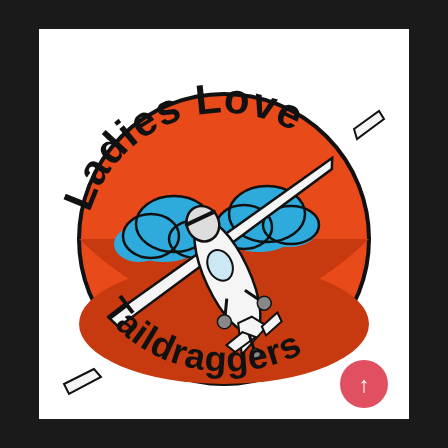[Figure (logo): Ladies Love Taildraggers logo: circular orange/red sun with two blue clouds, a taildragger airplane flying diagonally across the circle, bold black curved text reading 'Ladies Love' along the top arc and 'Taildraggers' along the bottom arc. A small red circle with an upward arrow appears in the lower right.]